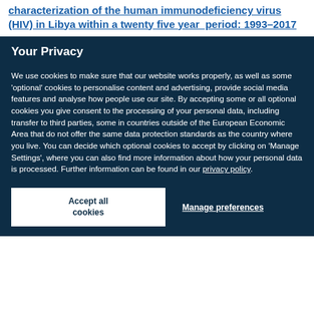characterization of the human immunodeficiency virus (HIV) in Libya within a twenty five year period: 1993–2017
Your Privacy
We use cookies to make sure that our website works properly, as well as some 'optional' cookies to personalise content and advertising, provide social media features and analyse how people use our site. By accepting some or all optional cookies you give consent to the processing of your personal data, including transfer to third parties, some in countries outside of the European Economic Area that do not offer the same data protection standards as the country where you live. You can decide which optional cookies to accept by clicking on 'Manage Settings', where you can also find more information about how your personal data is processed. Further information can be found in our privacy policy.
Accept all cookies
Manage preferences